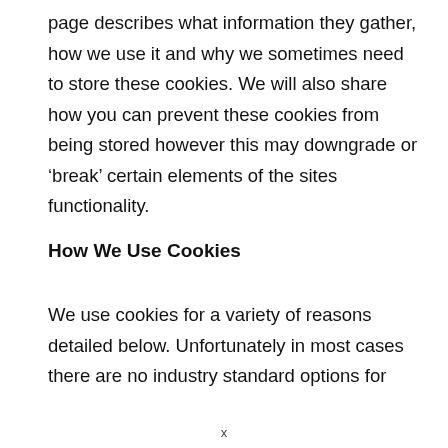page describes what information they gather, how we use it and why we sometimes need to store these cookies. We will also share how you can prevent these cookies from being stored however this may downgrade or 'break' certain elements of the sites functionality.
How We Use Cookies
We use cookies for a variety of reasons detailed below. Unfortunately in most cases there are no industry standard options for
x